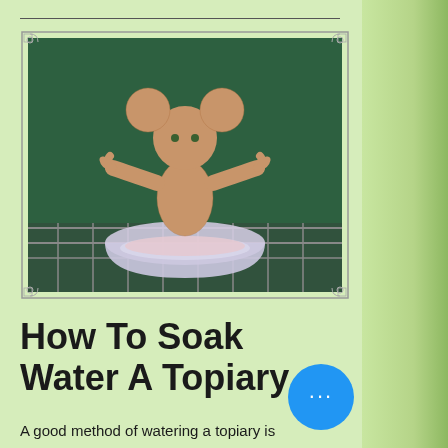[Figure (photo): A topiary shaped like a cartoon character (mouse/bear) made of sphagnum moss, sitting in a small plastic container of water on a wire rack, against a dark green background.]
How To Soak Water A Topiary
A good method of watering a topiary is soaking it. The sphagnum moss is similar to a sponge. It will soak up water and hold it